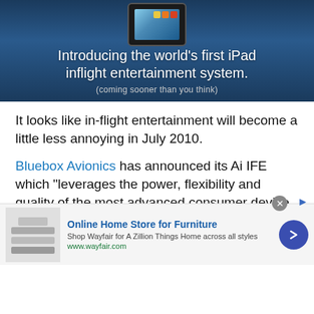[Figure (illustration): Dark blue gradient banner showing an iPad device at top with app icons. White text reads 'Introducing the world's first iPad inflight entertainment system.' with subtitle '(coming sooner than you think)']
It looks like in-flight entertainment will become a little less annoying in July 2010.
Bluebox Avionics has announced its Ai IFE which "leverages the power, flexibility and quality of the most advanced consumer device ever produced" (apprently that's the iPad). Flight attendants would either pass out iPads or chain them to your tray
[Figure (screenshot): Advertisement banner for Wayfair: 'Online Home Store for Furniture' - Shop Wayfair for A Zillion Things Home across all styles. www.wayfair.com. Shows furniture image on left and blue circle arrow button on right.]